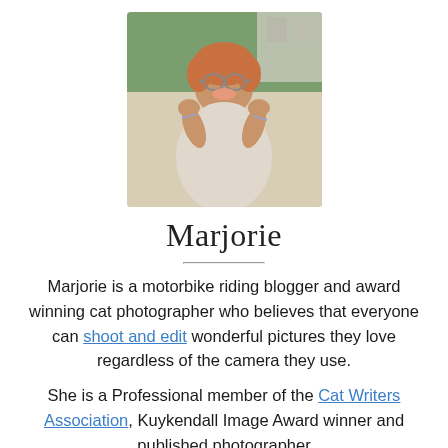[Figure (photo): Portrait photo of Marjorie, a middle-aged woman with short reddish hair and glasses, smiling with hands raised to her face, outdoors with green foliage in background]
Marjorie
Marjorie is a motorbike riding blogger and award winning cat photographer who believes that everyone can shoot and edit wonderful pictures they love regardless of the camera they use.
She is a Professional member of the Cat Writers Association, Kuykendall Image Award winner and published photographer